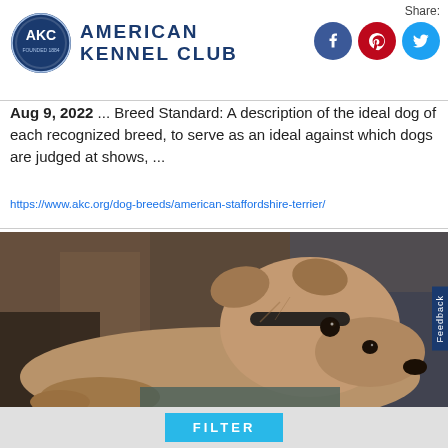American Kennel Club
Share:
Aug 9, 2022 ... Breed Standard: A description of the ideal dog of each recognized breed, to serve as an ideal against which dogs are judged at shows, ...
https://www.akc.org/dog-breeds/american-staffordshire-terrier/
[Figure (photo): Close-up photo of a greyhound dog with a tan/fawn coat lying down, looking directly at the camera with soulful eyes. The dog is wearing a dark collar. Background shows wooden furniture in soft focus.]
FILTER